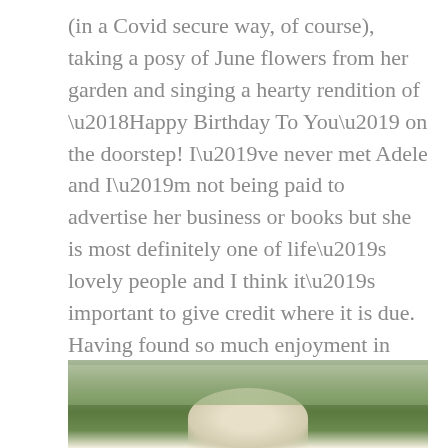(in a Covid secure way, of course), taking a posy of June flowers from her garden and singing a hearty rendition of ‘Happy Birthday To You’ on the doorstep! I’ve never met Adele and I’m not being paid to advertise her business or books but she is most definitely one of life’s lovely people and I think it’s important to give credit where it is due. Having found so much enjoyment in foraging for elderflowers and nettles in recent weeks, I can’t wait to get my hands on her book!
[Figure (photo): A basket or container with elderflowers or similar white/cream flowers against a green leafy background, viewed from above or slightly elevated angle.]